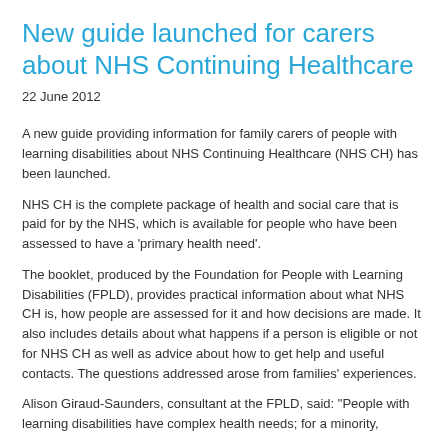New guide launched for carers about NHS Continuing Healthcare
22 June 2012
A new guide providing information for family carers of people with learning disabilities about NHS Continuing Healthcare (NHS CH) has been launched.
NHS CH is the complete package of health and social care that is paid for by the NHS, which is available for people who have been assessed to have a 'primary health need'.
The booklet, produced by the Foundation for People with Learning Disabilities (FPLD), provides practical information about what NHS CH is, how people are assessed for it and how decisions are made. It also includes details about what happens if a person is eligible or not for NHS CH as well as advice about how to get help and useful contacts. The questions addressed arose from families' experiences.
Alison Giraud-Saunders, consultant at the FPLD, said: "People with learning disabilities have complex health needs, for a minority…